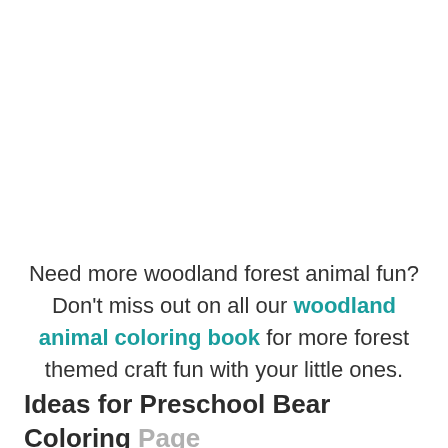Need more woodland forest animal fun? Don't miss out on all our woodland animal coloring book for more forest themed craft fun with your little ones.
Ideas for Preschool Bear Coloring Page